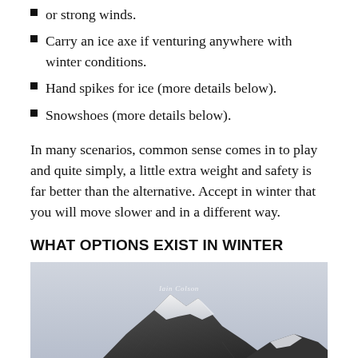or strong winds.
Carry an ice axe if venturing anywhere with winter conditions.
Hand spikes for ice (more details below).
Snowshoes (more details below).
In many scenarios, common sense comes in to play and quite simply, a little extra weight and safety is far better than the alternative. Accept in winter that you will move slower and in a different way.
WHAT OPTIONS EXIST IN WINTER
[Figure (photo): Black and white photograph of a snow-covered mountain peak with rocky ridgeline against a pale sky. A subtle watermark reading 'Iain Colson' is visible near the top center.]